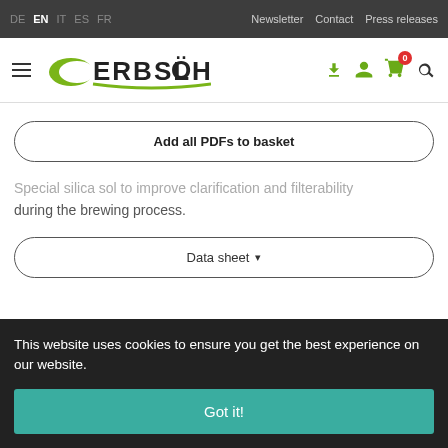DE EN IT ES FR | Newsletter Contact Press releases
[Figure (logo): Erbslöh company logo with green crescent shape and bold text ERBSLÖH]
Add all PDFs to basket
Special silica sol to improve clarification and filterability during the brewing process.
Data sheet ▾
This website uses cookies to ensure you get the best experience on our website.
Got it!